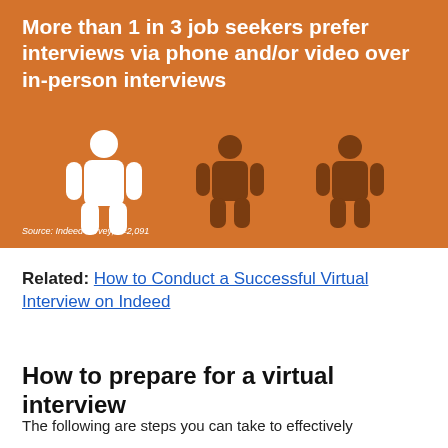[Figure (infographic): Orange infographic showing 3 person icons (1 white, 2 dark brown) illustrating that more than 1 in 3 job seekers prefer interviews via phone and/or video over in-person interviews. Source: Indeed survey, n=2,091.]
Related: How to Conduct a Successful Virtual Interview on Indeed
How to prepare for a virtual interview
The following are steps you can take to effectively